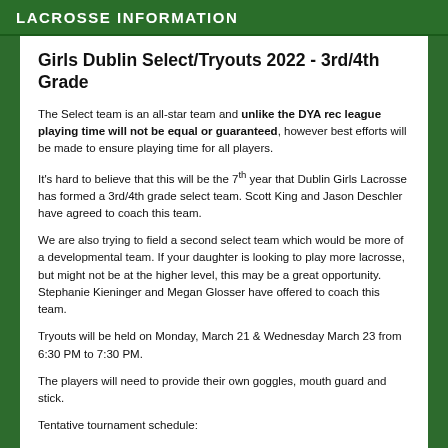LACROSSE INFORMATION
Girls Dublin Select/Tryouts 2022 - 3rd/4th Grade
The Select team is an all-star team and unlike the DYA rec league playing time will not be equal or guaranteed, however best efforts will be made to ensure playing time for all players.
It's hard to believe that this will be the 7th year that Dublin Girls Lacrosse has formed a 3rd/4th grade select team. Scott King and Jason Deschler have agreed to coach this team.
We are also trying to field a second select team which would be more of a developmental team. If your daughter is looking to play more lacrosse, but might not be at the higher level, this may be a great opportunity. Stephanie Kieninger and Megan Glosser have offered to coach this team.
Tryouts will be held on Monday, March 21 & Wednesday March 23 from 6:30 PM to 7:30 PM.
The players will need to provide their own goggles, mouth guard and stick.
Tentative tournament schedule:
Capital Challenge Saturday April 30 at Olentangy Liberty HS...